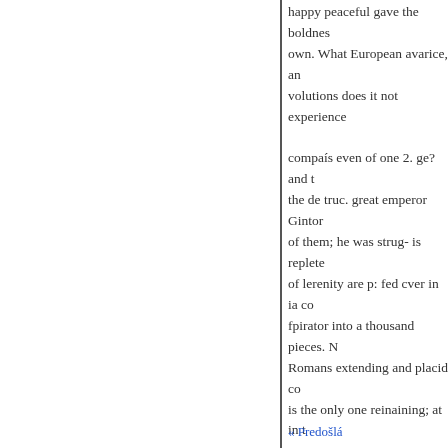happy peaceful gave the boldnes own. What European avarice, an volutions does it not experience compaís even of one 2. ge? and t the de truc. great emperor Gintor of them; he was strug- is replete of lerenity are p: fed cver in ia co fpirator into a thousand pieces. N Romans extending and placid co is the only one reinaining; at in t least iet one of the inmily be fatt may have barians, when become somebody left to feed and comfo lowers of Mahomet; or, more dre the house of Ming, law limfelt be ufurper, he was every iniquitv; c country left, ss well as hundred d battle; but incy forfouk hinna be- chuding giance, and persuading t
« Predošlá